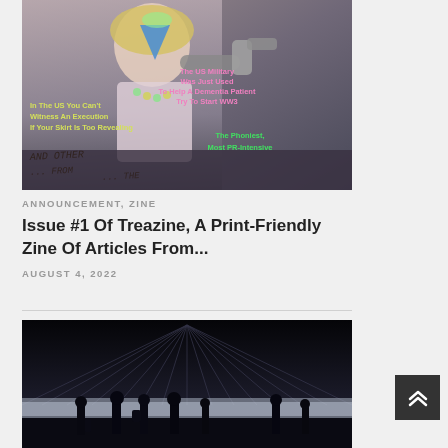[Figure (illustration): Zine cover illustration showing a cartoon woman with blonde hair holding a microphone, with colorful text overlays in yellow, pink, and green. Text reads: 'In The US You Can't Witness An Execution If Your Skirt Is Too Revealing', 'The US Military Was Just Used To Help A Dementia Patient Try To Start WW3', 'The Phoniest, Most PR-Intensive', and handwritten text 'AND OTHER ... FROM ... THE']
ANNOUNCEMENT, ZINE
Issue #1 Of Treazine, A Print-Friendly Zine Of Articles From...
AUGUST 4, 2022
[Figure (photo): Black and white photograph of an airport terminal interior with dramatic radiating ceiling lines and silhouettes of travelers standing at large windows.]